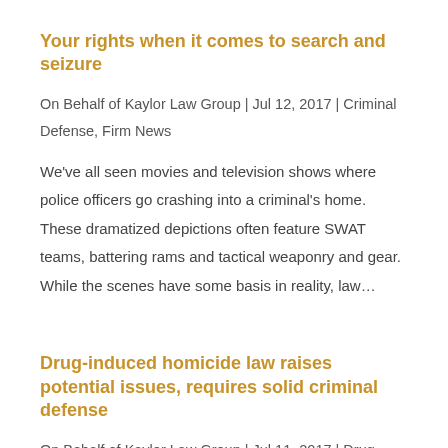Your rights when it comes to search and seizure
On Behalf of Kaylor Law Group | Jul 12, 2017 | Criminal Defense, Firm News
We've all seen movies and television shows where police officers go crashing into a criminal's home. These dramatized depictions often feature SWAT teams, battering rams and tactical weaponry and gear. While the scenes have some basis in reality, law…
Drug-induced homicide law raises potential issues, requires solid criminal defense
On Behalf of Kaylor Law Group | Jul 11, 2017 | Drug Crimes, Firm News